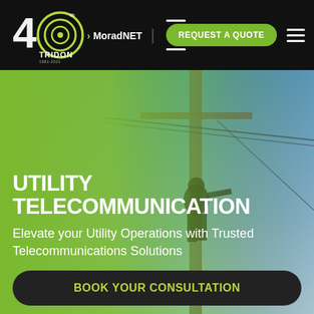[Figure (logo): Tridon 40th anniversary logo with circular signal/target icon and '40 TRIDON' text]
> MoradNET | REQUEST A QUOTE ≡
[Figure (photo): Utility worker climbing a telecommunications pole against a blue sky background with green color overlay]
UTILITY TELECOMMUNICATION
Elevate your Utility Operations with Trusted Telecommunications Solutions
BOOK YOUR CONSULTATION